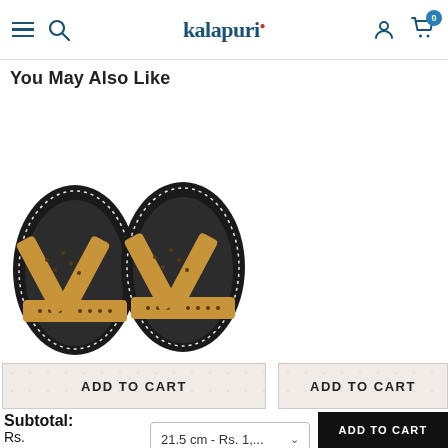kalapuri — navigation header with hamburger, search, user, and cart icons
You May Also Like
[Figure (photo): Top-down view of a pair of traditional Indian Kolhapuri sandals with black leather soles and tan/mustard leather cross straps with decorative cutout patterns]
ADD TO CART
ADD TO CART
Subtotal:
Rs. 1,906.00
21.5 cm - Rs. 1,...
Track
ADD TO CART